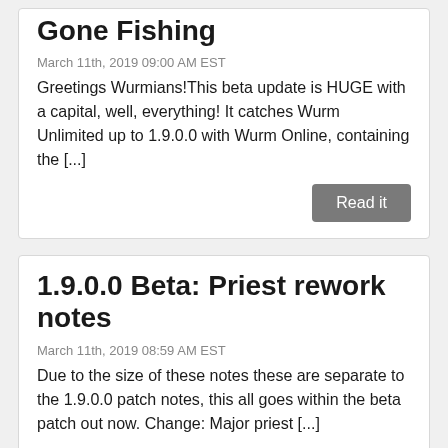Gone Fishing
March 11th, 2019 09:00 AM EST
Greetings Wurmians!This beta update is HUGE with a capital, well, everything! It catches Wurm Unlimited up to 1.9.0.0 with Wurm Online, containing the [...]
Read it
1.9.0.0 Beta: Priest rework notes
March 11th, 2019 08:59 AM EST
Due to the size of these notes these are separate to the 1.9.0.0 patch notes, this all goes within the beta patch out now. Change: Major priest [...]
Read it